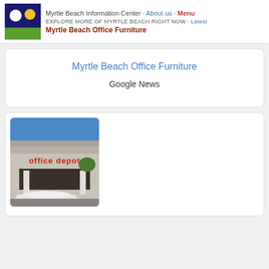Myrtle Beach Information Center · About us · Menu | EXPLORE MORE OF MYRTLE BEACH RIGHT NOW · Latest | Myrtle Beach Office Furniture
Myrtle Beach Office Furniture
Google News
[Figure (photo): Exterior photo of an Office Depot store with red signage, white building facade, columns, blue sky, and a white car in the foreground parking lot.]